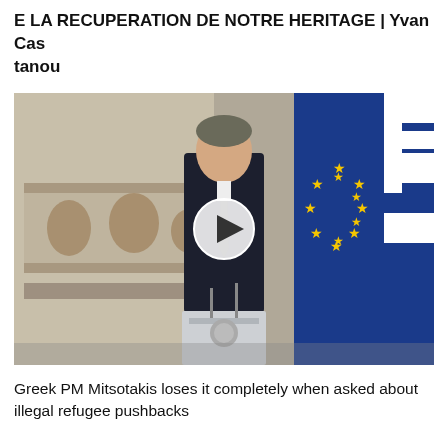E LA RECUPERATION DE NOTRE HERITAGE | Yvan Castanou
[Figure (photo): Video thumbnail showing Greek PM Mitsotakis standing at a podium/lectern with Greek and EU flags in the background. A play button overlay is visible in the center of the image. The setting appears to be an official government hall with ornate architectural details.]
Greek PM Mitsotakis loses it completely when asked about illegal refugee pushbacks